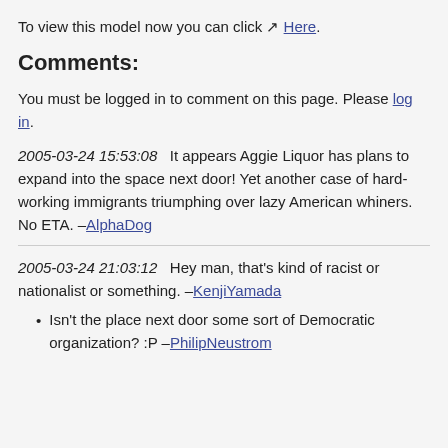To view this model now you can click ↗ Here.
Comments:
You must be logged in to comment on this page. Please log in.
2005-03-24 15:53:08   It appears Aggie Liquor has plans to expand into the space next door! Yet another case of hard-working immigrants triumphing over lazy American whiners. No ETA. –AlphaDog
2005-03-24 21:03:12   Hey man, that's kind of racist or nationalist or something. –KenjiYamada
Isn't the place next door some sort of Democratic organization? :P –PhilipNeustrom